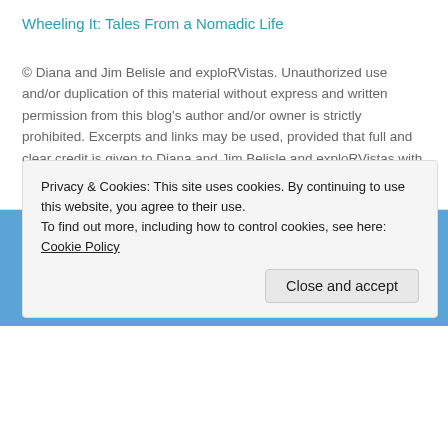Wheeling It: Tales From a Nomadic Life
© Diana and Jim Belisle and exploRVistas. Unauthorized use and/or duplication of this material without express and written permission from this blog's author and/or owner is strictly prohibited. Excerpts and links may be used, provided that full and clear credit is given to Diana and Jim Belisle and exploRVistas with appropriate and specific direction to the original content.
TOP POSTS & PAGES
[Figure (photo): Strip of thumbnail photos showing various travel/landscape images]
Privacy & Cookies: This site uses cookies. By continuing to use this website, you agree to their use.
To find out more, including how to control cookies, see here: Cookie Policy
Close and accept